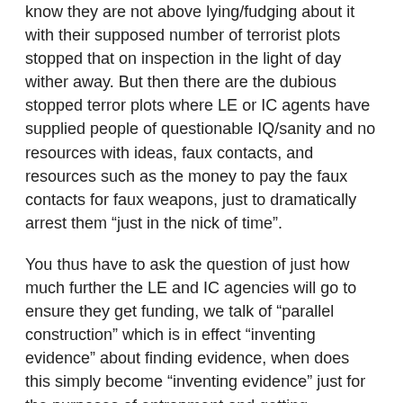know they are not above lying/fudging about it with their supposed number of terrorist plots stopped that on inspection in the light of day wither away. But then there are the dubious stopped terror plots where LE or IC agents have supplied people of questionable IQ/sanity and no resources with ideas, faux contacts, and resources such as the money to pay the faux contacts for faux weapons, just to dramatically arrest them “just in the nick of time”.
You thus have to ask the question of just how much further the LE and IC agencies will go to ensure they get funding, we talk of “parallel construction” which is in effect “inventing evidence” about finding evidence, when does this simply become “inventing evidence” just for the purposes of entrapment and getting convictions to look like the agency is actually needed?
So the only safe thing to do if you don’t have sufficient leverage to keep you safe, is not to have a mobile phone or anything else that has an accessable “air interface”… which is opting out of society.
Thus the the LE and IC agencies will have a “chilling effect”